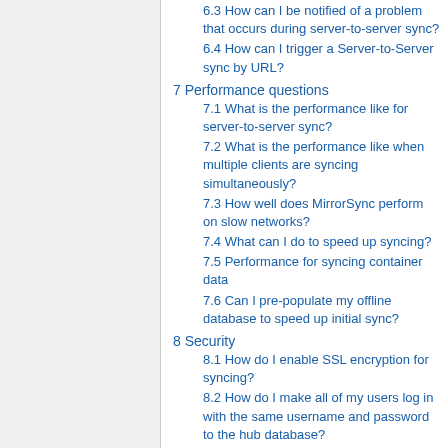6.3 How can I be notified of a problem that occurs during server-to-server sync?
6.4 How can I trigger a Server-to-Server sync by URL?
7 Performance questions
7.1 What is the performance like for server-to-server sync?
7.2 What is the performance like when multiple clients are syncing simultaneously?
7.3 How well does MirrorSync perform on slow networks?
7.4 What can I do to speed up syncing?
7.5 Performance for syncing container data
7.6 Can I pre-populate my offline database to speed up initial sync?
8 Security
8.1 How do I enable SSL encryption for syncing?
8.2 How do I make all of my users log in with the same username and password to the hub database?
9 Customizing MirrorSync